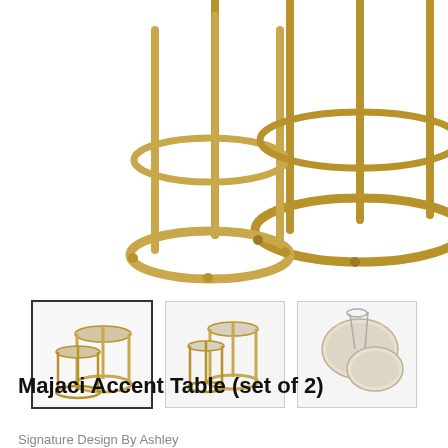[Figure (photo): Close-up of gold/brass metal accent table base with circular ring frames and vertical metal rods, cropped to show the lower portion of two nesting tables]
[Figure (photo): Thumbnail 1 (selected): Full view of two nesting Majaci accent tables with gold frames and marble-look tops]
[Figure (photo): Thumbnail 2: Side view of the two nesting accent tables with gold metal frames]
[Figure (photo): Thumbnail 3: Close-up overhead/angled view of the two table tops with marble-look surfaces]
Majaci Accent Table (set of 2)
Signature Design By Ashley